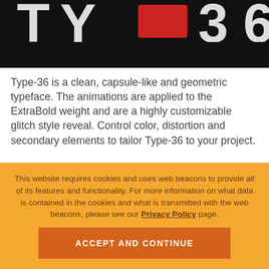[Figure (illustration): Dark background with dot-grid pattern, partially visible large bold text with red highlight element — appears to be the 'Type-36' logo/title graphic]
Type-36 is a clean, capsule-like and geometric typeface. The animations are applied to the ExtraBold weight and are a highly customizable glitch style reveal. Control color, distortion and secondary elements to tailor Type-36 to your project.
This website requires cookies and uses web beacons to provide all of its features and functionality. For more information on what data is contained in the cookies and what is transmitted with the web beacons, please see our Privacy Policy page.
ACCEPT AND CONTINUE